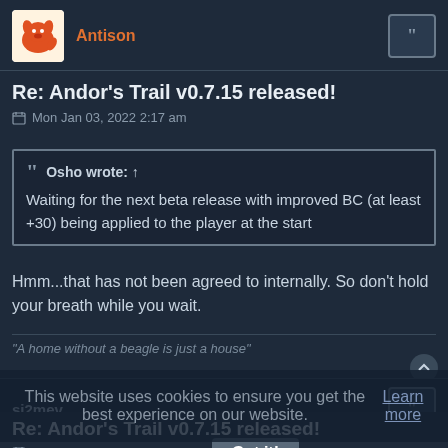Antison
Re: Andor's Trail v0.7.15 released!
Mon Jan 03, 2022 2:17 am
Osho wrote: ↑
Waiting for the next beta release with improved BC (at least +30) being applied to the player at the start
Hmm...that has not been agreed to internally. So don't hold your breath while you wait.
"A home without a beagle is just a house"
si2mev
Re: Andor's Trail v0.7.15 released!
Mon Jan 03, 2022 11:15 am
draze wrote: ↑